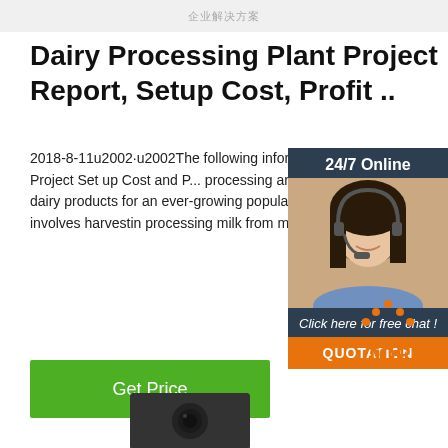企业解决方案
Dairy Processing Plant Project Report, Setup Cost, Profit ..
2018-8-11u2002·u2002The following information is about Dairy Processing Plant Project Set up Cost and Profit. Dairy processing around the world is growing rapidly to meet the demand and dairy products for an ever-growing population. Dairy processing is an industry that involves harvesting, collecting, and processing milk from milk-producing animals for human consumption.
[Figure (photo): Customer service representative woman with headset, smiling, with 24/7 Online label and chat widget overlay]
[Figure (other): TOP button with orange dot pattern above the text TOP in orange]
[Figure (photo): Partial view of a camera lens at bottom of page]